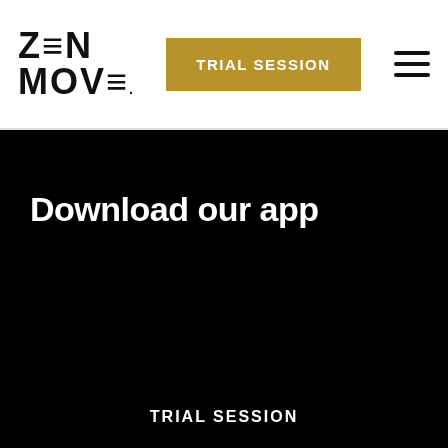ZEN MOVE | TRIAL SESSION
Download our app
TRIAL SESSION